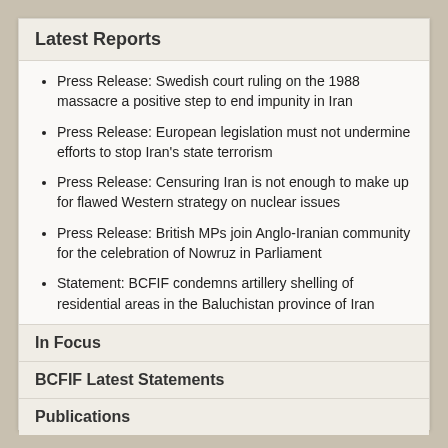Latest Reports
Press Release: Swedish court ruling on the 1988 massacre a positive step to end impunity in Iran
Press Release: European legislation must not undermine efforts to stop Iran's state terrorism
Press Release: Censuring Iran is not enough to make up for flawed Western strategy on nuclear issues
Press Release: British MPs join Anglo-Iranian community for the celebration of Nowruz in Parliament
Statement: BCFIF condemns artillery shelling of residential areas in the Baluchistan province of Iran
In Focus
BCFIF Latest Statements
Publications